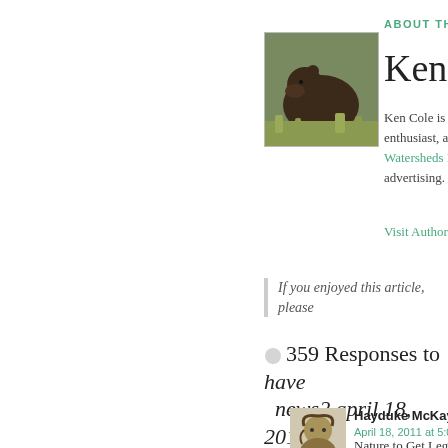ABOUT THE
[Figure (photo): Photo of a brown bear walking through brush]
Ken C
Ken Cole is a enthusiast, am Watersheds R advertising.
Visit Authors W
If you enjoyed this article, please
359 Responses to have news? april 18, 2011
[Figure (photo): Portrait sketch of Hayduke McKay]
Hayduke McKay says
April 18, 2011 at 5:00 pm
Nature to Get Legal R